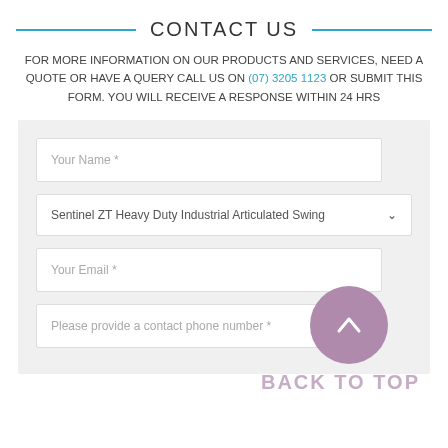CONTACT US
FOR MORE INFORMATION ON OUR PRODUCTS AND SERVICES, NEED A QUOTE OR HAVE A QUERY CALL US ON (07) 3205 1123 OR SUBMIT THIS FORM. YOU WILL RECEIVE A RESPONSE WITHIN 24 HRS